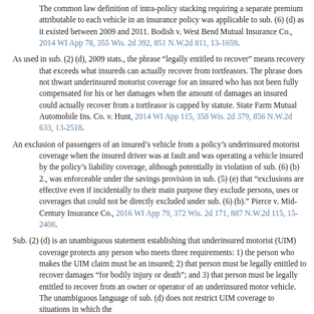The common law definition of intra-policy stacking requiring a separate premium attributable to each vehicle in an insurance policy was applicable to sub. (6) (d) as it existed between 2009 and 2011. Bodish v. West Bend Mutual Insurance Co., 2014 WI App 78, 355 Wis. 2d 392, 851 N.W.2d 811, 13-1659.
As used in sub. (2) (d), 2009 stats., the phrase “legally entitled to recover” means recovery that exceeds what insureds can actually recover from tortfeasors. The phrase does not thwart underinsured motorist coverage for an insured who has not been fully compensated for his or her damages when the amount of damages an insured could actually recover from a tortfeasor is capped by statute. State Farm Mutual Automobile Ins. Co. v. Hunt, 2014 WI App 115, 358 Wis. 2d 379, 856 N.W.2d 633, 13-2518.
An exclusion of passengers of an insured’s vehicle from a policy’s underinsured motorist coverage when the insured driver was at fault and was operating a vehicle insured by the policy’s liability coverage, although potentially in violation of sub. (6) (b) 2., was enforceable under the savings provision in sub. (5) (e) that “exclusions are effective even if incidentally to their main purpose they exclude persons, uses or coverages that could not be directly excluded under sub. (6) (b).” Pierce v. Mid-Century Insurance Co., 2016 WI App 79, 372 Wis. 2d 171, 887 N.W.2d 115, 15-2408.
Sub. (2) (d) is an unambiguous statement establishing that underinsured motorist (UIM) coverage protects any person who meets three requirements: 1) the person who makes the UIM claim must be an insured; 2) that person must be legally entitled to recover damages “for bodily injury or death”; and 3) that person must be legally entitled to recover from an owner or operator of an underinsured motor vehicle. The unambiguous language of sub. (d) does not restrict UIM coverage to situations in which the